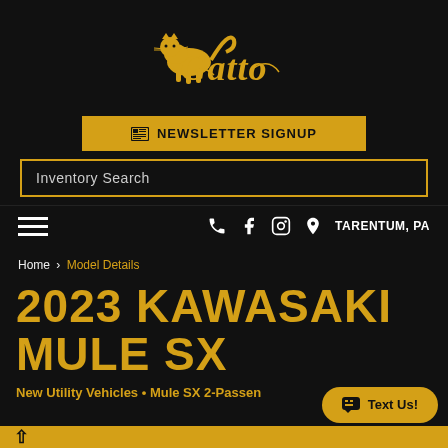[Figure (logo): Gatto dealership logo - stylized yellow cat with cursive 'Gatto' text on black background]
NEWSLETTER SIGNUP
Inventory Search
TARENTUM, PA
Home › Model Details
2023 KAWASAKI MULE SX
New Utility Vehicles • Mule SX 2-Passenger
Text Us!